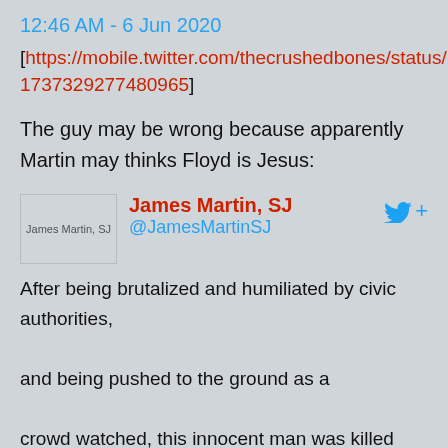12:46 AM - 6 Jun 2020
[https://mobile.twitter.com/thecrushedbones/status/12691737329277480965]
The guy may be wrong because apparently Martin may thinks Floyd is Jesus:
[Figure (screenshot): Twitter profile card for James Martin, SJ (@JamesMartinSJ) with avatar image placeholder and Twitter follow button]
After being brutalized and humiliated by civic authorities, and being pushed to the ground as a crowd watched, this innocent man was killed ultimately by asphyxiation, not by a loss of blood, and in his final moments, he cried out for a drink of